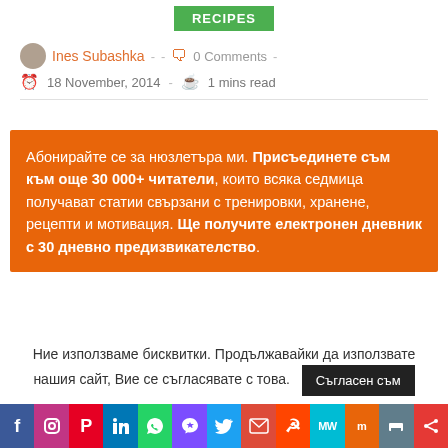[Figure (other): RECIPES green button/tag]
Ines Subashka - - 0 Comments - 18 November, 2014 - 1 mins read
Абонирайте се за нюзлетъра ми. Присъединете съм към още 30 000+ читатели, които всяка седмица получават статии свързани с тренировки, хранене, рецепти и мотивация. Ще получите електронен дневник с 30 дневно предизвикателство.
Ние използваме бисквитки. Продължавайки да използвате нашия сайт, Вие се съгласявате с това. Съгласен съм
[Figure (other): Social media share bar with icons: Facebook, Instagram, Pinterest, LinkedIn, WhatsApp, Viber, Twitter, Email, Reddit, MeWe, Mix, Print, Share]